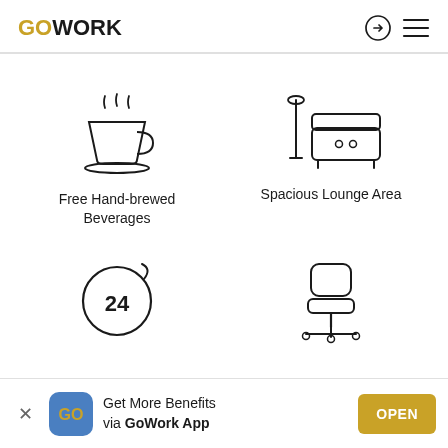GOWORK
[Figure (illustration): Coffee cup with steam icon representing Free Hand-brewed Beverages]
Free Hand-brewed Beverages
[Figure (illustration): Sofa and lamp icon representing Spacious Lounge Area]
Spacious Lounge Area
[Figure (illustration): 24/7 access clock icon]
[Figure (illustration): Ergonomic chair icon]
Get More Benefits via GoWork App
OPEN